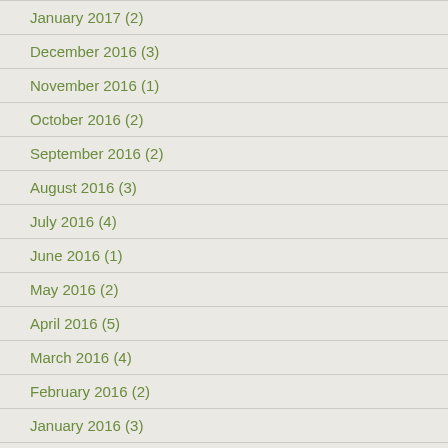January 2017 (2)
December 2016 (3)
November 2016 (1)
October 2016 (2)
September 2016 (2)
August 2016 (3)
July 2016 (4)
June 2016 (1)
May 2016 (2)
April 2016 (5)
March 2016 (4)
February 2016 (2)
January 2016 (3)
December 2015 (3)
November 2015 (3)